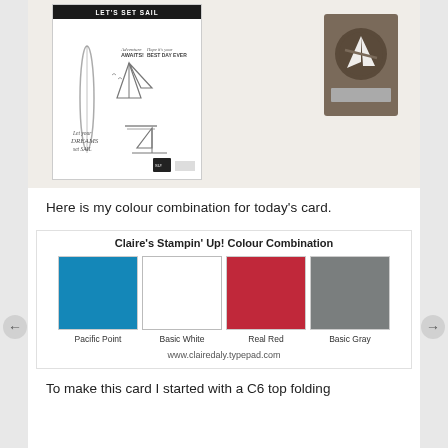[Figure (photo): Product photo showing 'Let's Set Sail' stamp set with sailboat and sentiment stamps, and a die-cut tool in brown/taupe color]
Here is my colour combination for today's card.
[Figure (infographic): Claire's Stampin' Up! Colour Combination showing four color swatches: Pacific Point (blue), Basic White (white), Real Red (red), Basic Gray (gray). Website: www.clairedaly.typepad.com]
To make this card I started with a C6 top folding